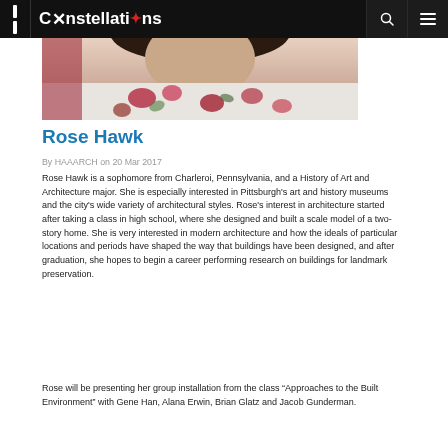Constellations
[Figure (photo): Close-up photo of Rose Hawk wearing a floral dress, cropped to show upper body and face partially cut off at top]
Rose Hawk
By HAAARCH on 20 Mar 2017
Rose Hawk is a sophomore from Charleroi, Pennsylvania, and a History of Art and Architecture major. She is especially interested in Pittsburgh's art and history museums and the city's wide variety of architectural styles. Rose's interest in architecture started after taking a class in high school, where she designed and built a scale model of a two-story home. She is very interested in modern architecture and how the ideals of particular locations and periods have shaped the way that buildings have been designed, and after graduation, she hopes to begin a career performing research on buildings for landmark preservation.
Rose will be presenting her group installation from the class “Approaches to the Built Environment” with Gene Han, Alana Erwin, Brian Glatz and Jacob Gunderman.